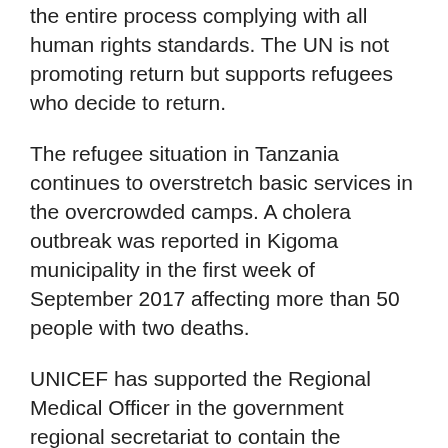the entire process complying with all human rights standards. The UN is not promoting return but supports refugees who decide to return.
The refugee situation in Tanzania continues to overstretch basic services in the overcrowded camps. A cholera outbreak was reported in Kigoma municipality in the first week of September 2017 affecting more than 50 people with two deaths.
UNICEF has supported the Regional Medical Officer in the government regional secretariat to contain the disease and prevent any possible cross contamination between host communities and refugees.
The UN Joint Programme in Kigoma was launched on 20th September 2017. This joint programme focusses on development gaps in refugee hosting districts which lag far behind national development indicators. UNICEF is leading two sectors; WASH and Protection-"End Violence